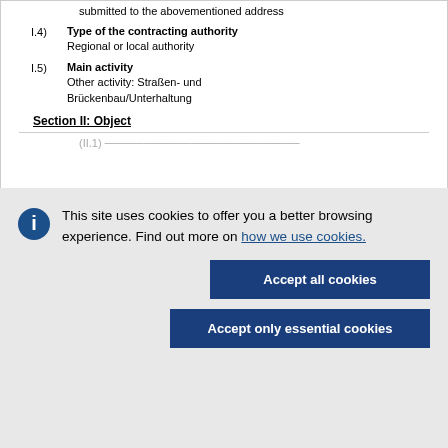submitted to the abovementioned address
I.4) Type of the contracting authority
Regional or local authority
I.5) Main activity
Other activity: Straßen- und Brückenbau/Unterhaltung
Section II: Object
[Figure (screenshot): Cookie consent overlay with info icon, message about cookies, and two buttons: Accept all cookies and Accept only essential cookies]